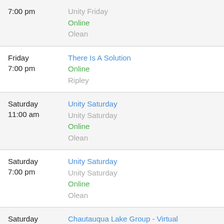| Day/Time | Meeting Details |
| --- | --- |
| 7:00 pm | Unity Friday
Online
Olean |
| Friday
7:00 pm | There Is A Solution
Online
Ripley |
| Saturday
11:00 am | Unity Saturday
Unity Saturday
Online
Olean |
| Saturday
7:00 pm | Unity Saturday
Unity Saturday
Online
Olean |
| Saturday
8:00 pm | Chautauqua Lake Group - Virtual
The Rock Church
Jamestown Online |